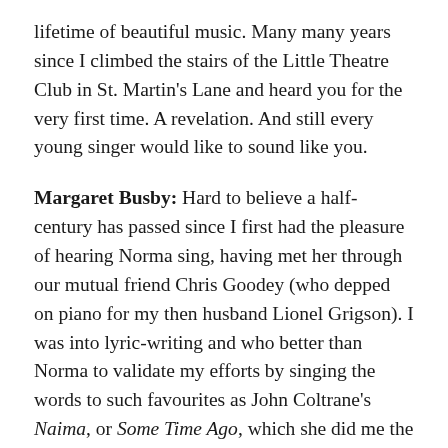lifetime of beautiful music. Many many years since I climbed the stairs of the Little Theatre Club in St. Martin's Lane and heard you for the very first time. A revelation. And still every young singer would like to sound like you.
Margaret Busby: Hard to believe a half-century has passed since I first had the pleasure of hearing Norma sing, having met her through our mutual friend Chris Goodey (who depped on piano for my then husband Lionel Grigson). I was into lyric-writing and who better than Norma to validate my efforts by singing the words to such favourites as John Coltrane's Naima, or Some Time Ago, which she did me the honour of including on her classic album Somewhere Called Home. Of course, she later had no need of anyone's help with lyrics: her A Timeless Place – a Jimmy Rowles composition that appeared as The Peacocks on Bill Evans's 1981 You Must Believe in Spring – remains